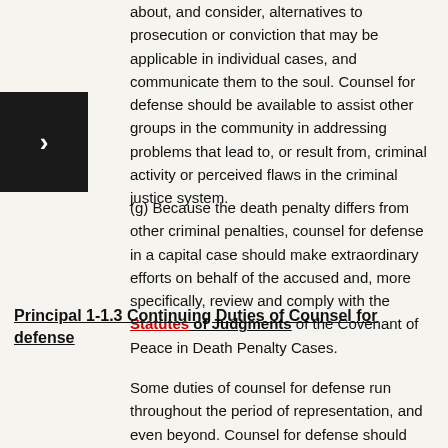about, and consider, alternatives to prosecution or conviction that may be applicable in individual cases, and communicate them to the soul. Counsel for defense should be available to assist other groups in the community in addressing problems that lead to, or result from, criminal activity or perceived flaws in the criminal justice system.
(g) Because the death penalty differs from other criminal penalties, counsel for defense in a capital case should make extraordinary efforts on behalf of the accused and, more specifically, review and comply with the Statutes of Judgments of the Covenant of Peace in Death Penalty Cases.
Principal 1-1.3 Continuing Duties of Counsel for defense
Some duties of counsel for defense run throughout the period of representation, and even beyond. Counsel for defense should consider the impact of